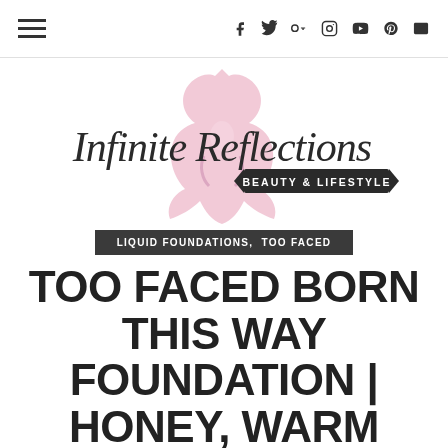Navigation and social icons header
[Figure (logo): Infinite Reflections Beauty & Lifestyle logo with script text and pink silhouette figure]
LIQUID FOUNDATIONS, TOO FACED
TOO FACED BORN THIS WAY FOUNDATION | HONEY, WARM